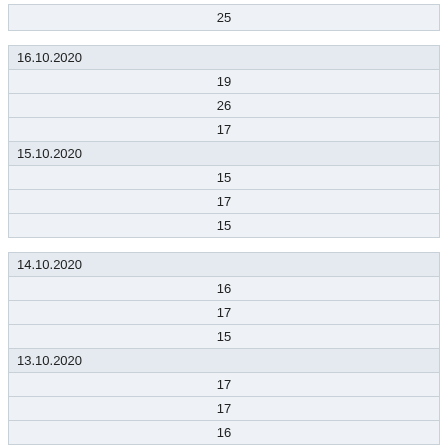| 25 |
| 16.10.2020 |
| 19 |
| 26 |
| 17 |
| 15.10.2020 |
| 15 |
| 17 |
| 15 |
| 14.10.2020 |
| 16 |
| 17 |
| 15 |
| 13.10.2020 |
| 17 |
| 17 |
| 16 |